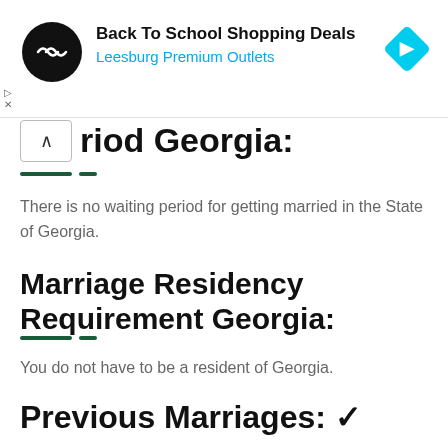[Figure (other): Advertisement banner: Back To School Shopping Deals at Leesburg Premium Outlets, with circular logo and blue navigation icon]
riod Georgia:
There is no waiting period for getting married in the State of Georgia.
Marriage Residency Requirement Georgia:
You do not have to be a resident of Georgia.
Previous Marriages: